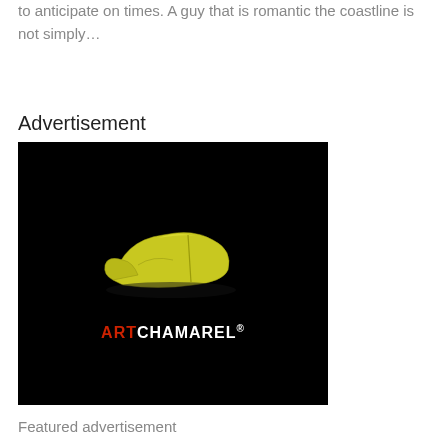to anticipate on times. A guy that is romantic the coastline is not simply...
Advertisement
[Figure (logo): Art Chamarel brand advertisement on black background featuring a yellow-green sculptural shoe/abstract form above the text ARTCHAMAREL with ART in red and CHAMAREL in white]
Featured advertisement